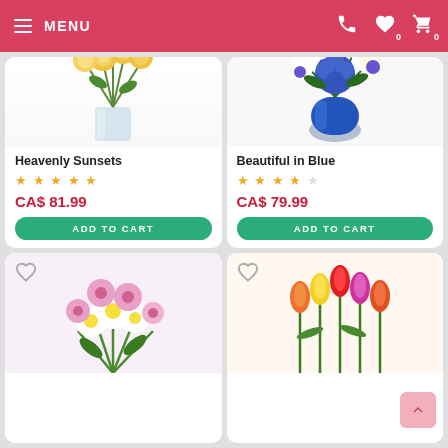MENU
[Figure (photo): Yellow roses and alstroemeria flower bouquet in a clear glass vase (Heavenly Sunsets product image)]
Heavenly Sunsets
★★★★★
CA$ 81.99
ADD TO CART
[Figure (photo): Blue and white flower arrangement with hydrangeas, lilies, and daisies in a blue vase (Beautiful in Blue product image)]
Beautiful in Blue
★★★★☆
CA$ 79.99
ADD TO CART
[Figure (photo): Pink and white daisy/chrysanthemum bouquet (partially visible bottom-left product card)]
[Figure (photo): Colorful mixed tulips bouquet in orange, yellow, red and pink (partially visible bottom-right product card)]